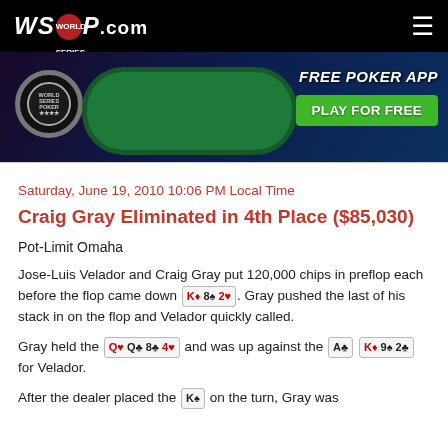WSOP.COM
[Figure (screenshot): WSOP.com promotional banner showing a poker table with cards and chips, advertising a Free Poker App with Play For Free button]
Saturday, June 19, 2010 10:06 PM Local Time
Craig Gray Eliminated in 4th Place ($85,030)
Pot-Limit Omaha
Jose-Luis Velador and Craig Gray put 120,000 chips in preflop each before the flop came down K♦ 8♠ 2♥. Gray pushed the last of his stack in on the flop and Velador quickly called.
Gray held the Q♥ Q♣ 8♣ 4♥ and was up against the A♣ K♦ 9♠ 2♣ for Velador.
After the dealer placed the K♠ on the turn, Gray was